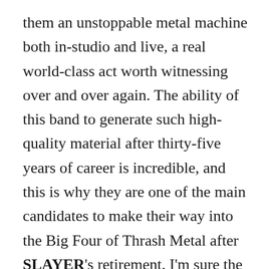them an unstoppable metal machine both in-studio and live, a real world-class act worth witnessing over and over again. The ability of this band to generate such high-quality material after thirty-five years of career is incredible, and this is why they are one of the main candidates to make their way into the Big Four of Thrash Metal after SLAYER's retirement. I'm sure the current incarnation of TESTAMENT still has a lot of surprises to offer us in the near future since they seem to be enjoying this endless period of creativity and inspiration at a level that sets them very far apart from other thrash legends who fail to